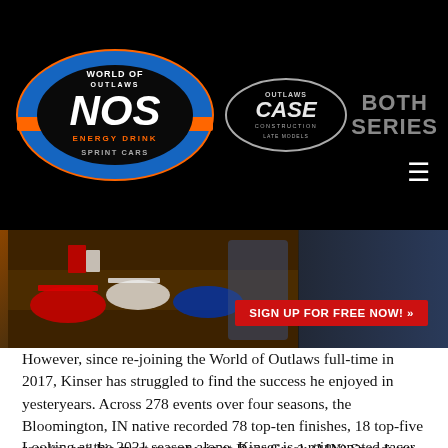[Figure (logo): World of Outlaws NOS Energy Drink Sprint Cars logo — blue, orange, black circular logo with NOS in large letters]
[Figure (logo): World of Outlaws CASE Construction Late Models logo — circular logo]
BOTH SERIES
[Figure (photo): Racing scene with sprint cars on dirt track, driver celebrating, with red button reading SIGN UP FOR FREE NOW! »]
However, since re-joining the World of Outlaws full-time in 2017, Kinser has struggled to find the success he enjoyed in yesteryears. Across 278 events over four seasons, the Bloomington, IN native recorded 78 top-ten finishes, 18 top-five results, and his most recent win at Deer Creek (MN) Speedway in July 2017.
Looking at the 2021 season alone, Kinser is a rejuvenated racer plugging away at his best work in almost a decade. Through the first 11 races of the year, Kraig has five top-ten